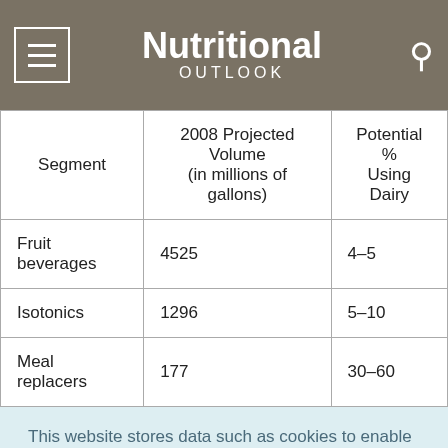Nutritional OUTLOOK
| Segment | 2008 Projected Volume (in millions of gallons) | Potential % Using Dairy |
| --- | --- | --- |
| Fruit beverages | 4525 | 4-5 |
| Isotonics | 1296 | 5-10 |
| Meal replacers | 177 | 30-60 |
This website stores data such as cookies to enable essential site functionality, as well as marketing, personalization, and analytics. Cookie Policy
Accept
Deny